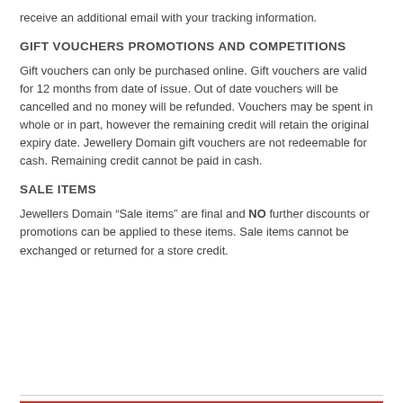receive an additional email with your tracking information.
GIFT VOUCHERS PROMOTIONS AND COMPETITIONS
Gift vouchers can only be purchased online. Gift vouchers are valid for 12 months from date of issue. Out of date vouchers will be cancelled and no money will be refunded. Vouchers may be spent in whole or in part, however the remaining credit will retain the original expiry date. Jewellery Domain gift vouchers are not redeemable for cash. Remaining credit cannot be paid in cash.
SALE ITEMS
Jewellers Domain “Sale items” are final and NO further discounts or promotions can be applied to these items. Sale items cannot be exchanged or returned for a store credit.